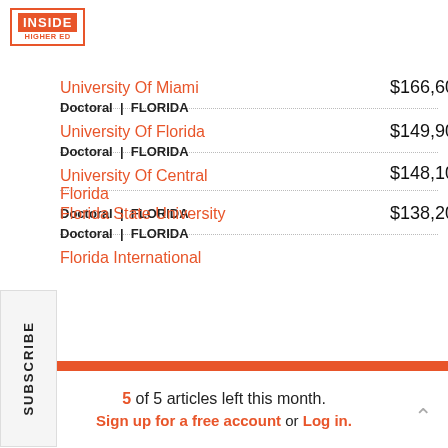[Figure (logo): Inside Higher Ed logo with orange box border]
University Of Miami | Doctoral | FLORIDA | $166,600 | 2.4%
University Of Florida | Doctoral | FLORIDA | $149,900 | 0.3%
University Of Central Florida | Doctoral | FLORIDA | $148,100 | N/A
Florida State University | Doctoral | FLORIDA | $138,200 | 2.2%
Florida International
SUBSCRIBE
5 of 5 articles left this month. Sign up for a free account or Log in.